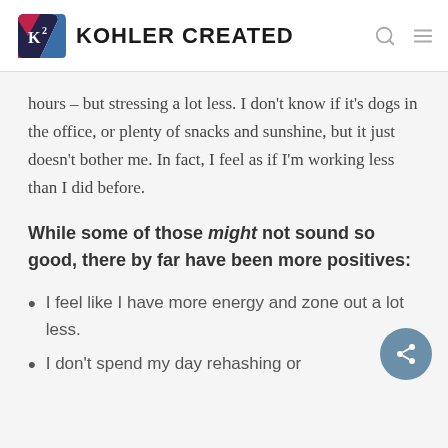KOHLER CREATED
hours – but stressing a lot less. I don't know if it's dogs in the office, or plenty of snacks and sunshine, but it just doesn't bother me. In fact, I feel as if I'm working less than I did before.
While some of those might not sound so good, there by far have been more positives:
I feel like I have more energy and zone out a lot less.
I don't spend my day rehashing or